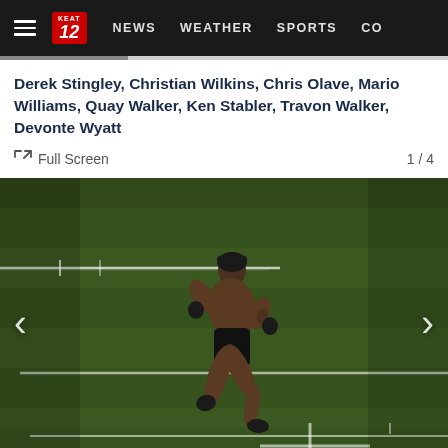≡  KEAT 12  NEWS  WEATHER  SPORTS  CO
Derek Stingley, Christian Wilkins, Chris Olave, Mario Williams, Quay Walker, Ken Stabler, Travon Walker, Devonte Wyatt
Full Screen  1 / 4
[Figure (photo): A muscular shirtless athlete wearing black shorts, gloves, and a black beanie sprinting on a football field with yard lines visible on green grass.]